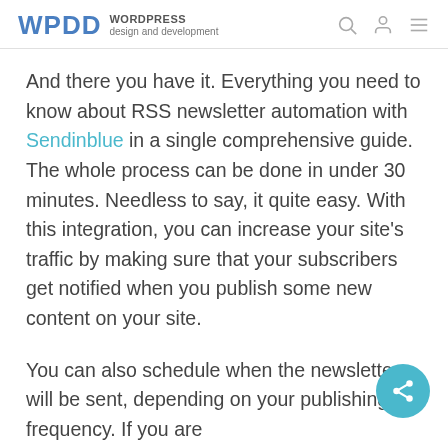WPDD WORDPRESS design and development
And there you have it. Everything you need to know about RSS newsletter automation with Sendinblue in a single comprehensive guide. The whole process can be done in under 30 minutes. Needless to say, it quite easy. With this integration, you can increase your site's traffic by making sure that your subscribers get notified when you publish some new content on your site.
You can also schedule when the newsletters will be sent, depending on your publishing frequency. If you are